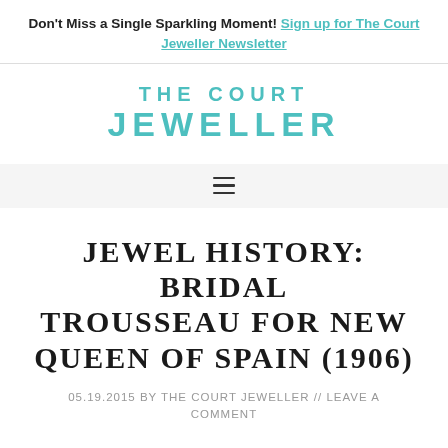Don't Miss a Single Sparkling Moment! Sign up for The Court Jeweller Newsletter
[Figure (logo): The Court Jeweller logo in teal/turquoise text, two lines: 'THE COURT' and 'JEWELLER']
JEWEL HISTORY: BRIDAL TROUSSEAU FOR NEW QUEEN OF SPAIN (1906)
05.19.2015 by THE COURT JEWELLER // LEAVE A COMMENT